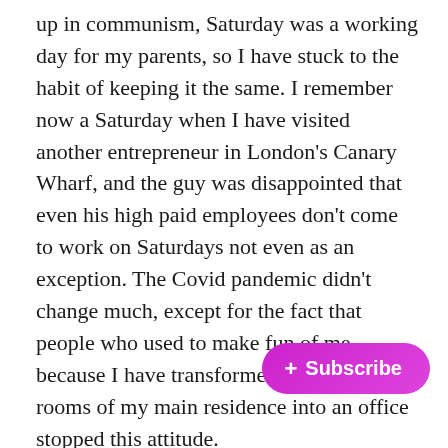up in communism, Saturday was a working day for my parents, so I have stuck to the habit of keeping it the same. I remember now a Saturday when I have visited another entrepreneur in London's Canary Wharf, and the guy was disappointed that even his high paid employees don't come to work on Saturdays not even as an exception. The Covid pandemic didn't change much, except for the fact that people who used to make fun of me because I have transformed one of the rooms of my main residence into an office stopped this attitude.
We tend to see work as a bad thing, and as a result, we crave the weekends, and that one holiday a year, maybe two, when we can disconnect from everything, and binge all day long. I find this to be a mistake. The work we do which takes should not be transformed just into a career, but into a
[Figure (other): A magenta/purple pill-shaped Subscribe button with a plus sign and the text '+ Subscribe']